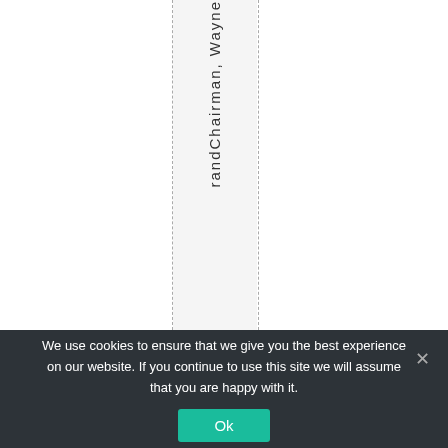randChairman, Wayne
We use cookies to ensure that we give you the best experience on our website. If you continue to use this site we will assume that you are happy with it.